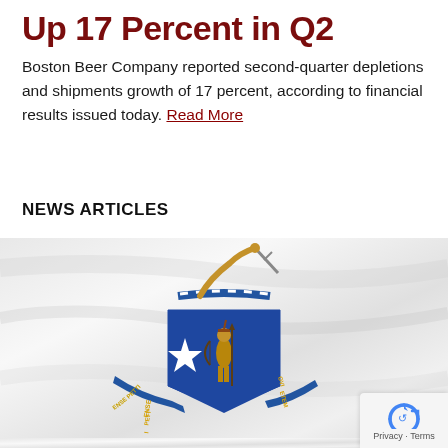Up 17 Percent in Q2
Boston Beer Company reported second-quarter depletions and shipments growth of 17 percent, according to financial results issued today. Read More
NEWS ARTICLES
[Figure (photo): Massachusetts state flag waving — white background with blue shield featuring Native American figure holding bow and arrow, white star, with ribbons reading 'ENSE PETIT' and 'OVI ETEM']